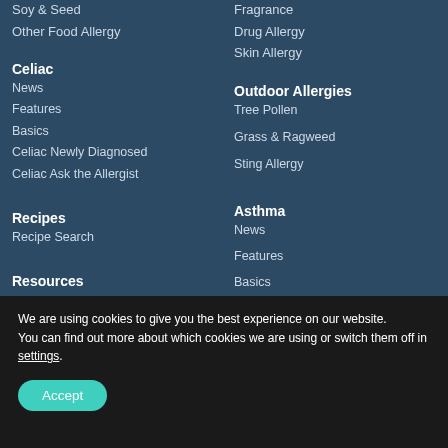Soy & Seed
Other Food Allergy
Fragrance
Drug Allergy
Skin Allergy
Celiac
News
Features
Basics
Celiac Newly Diagnosed
Celiac Ask the Allergist
Outdoor Allergies
Tree Pollen
Grass & Ragweed
Sting Allergy
Recipes
Recipe Search
Asthma
News
Features
Basics
Newly Diagnosed
Resources
We are using cookies to give you the best experience on our website.
You can find out more about which cookies we are using or switch them off in settings.
Accept